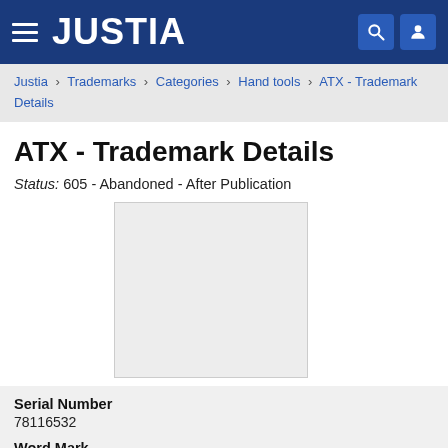JUSTIA
Justia › Trademarks › Categories › Hand tools › ATX - Trademark Details
ATX - Trademark Details
Status: 605 - Abandoned - After Publication
[Figure (other): Blank/placeholder trademark image box]
| Field | Value |
| --- | --- |
| Serial Number | 78116532 |
| Word Mark |  |